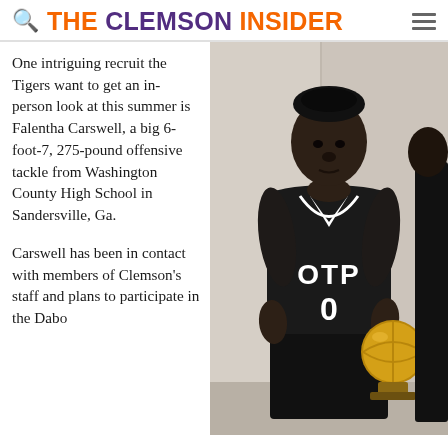THE CLEMSON INSIDER
One intriguing recruit the Tigers want to get an in-person look at this summer is Falentha Carswell, a big 6-foot-7, 275-pound offensive tackle from Washington County High School in Sandersville, Ga.
Carswell has been in contact with members of Clemson's staff and plans to participate in the Dabo
[Figure (photo): Young man wearing a black OTP basketball jersey with number 0, holding a gold trophy basketball award, standing against a light-colored wall]